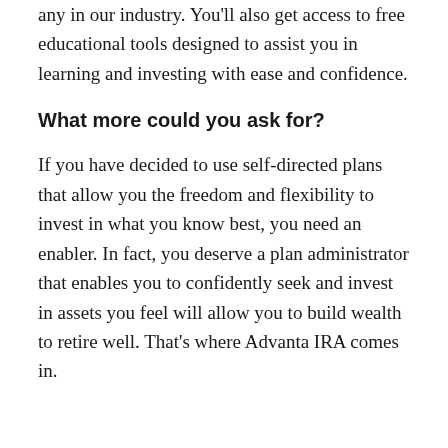any in our industry. You'll also get access to free educational tools designed to assist you in learning and investing with ease and confidence.
What more could you ask for?
If you have decided to use self-directed plans that allow you the freedom and flexibility to invest in what you know best, you need an enabler. In fact, you deserve a plan administrator that enables you to confidently seek and invest in assets you feel will allow you to build wealth to retire well. That's where Advanta IRA comes in.